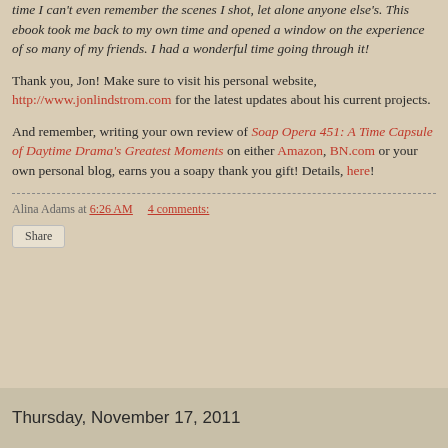time I can't even remember the scenes I shot, let alone anyone else's. This ebook took me back to my own time and opened a window on the experience of so many of my friends. I had a wonderful time going through it!
Thank you, Jon! Make sure to visit his personal website, http://www.jonlindstrom.com for the latest updates about his current projects.
And remember, writing your own review of Soap Opera 451: A Time Capsule of Daytime Drama's Greatest Moments on either Amazon, BN.com or your own personal blog, earns you a soapy thank you gift! Details, here!
Alina Adams at 6:26 AM    4 comments:
Share
Thursday, November 17, 2011